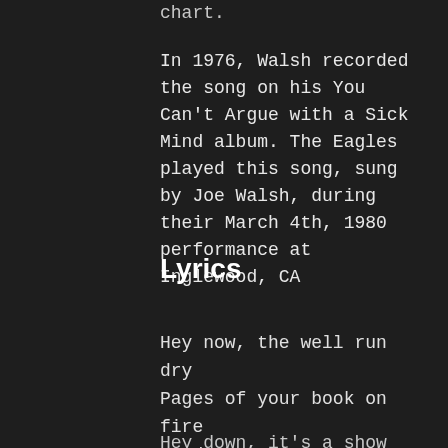chart.
In 1976, Walsh recorded the song on his You Can't Argue with a Sick Mind album. The Eagles played this song, sung by Joe Walsh, during their March 4th, 1980 performance at Inglewood, CA
Lyrics
Hey now, the well run dry
Pages of your book on fire
Read the writing
On the wall
Hey down, it's a show down